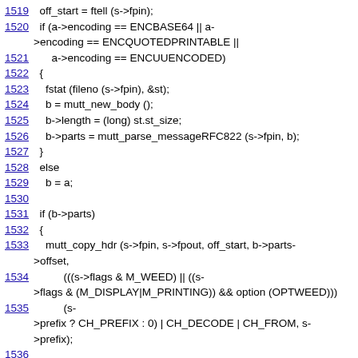1519   off_start = ftell (s->fpin);
1520   if (a->encoding == ENCBASE64 || a->encoding == ENCQUOTEDPRINTABLE ||
1521         a->encoding == ENCUUENCODED)
1522   {
1523     fstat (fileno (s->fpin), &st);
1524     b = mutt_new_body ();
1525     b->length = (long) st.st_size;
1526     b->parts = mutt_parse_messageRFC822 (s->fpin, b);
1527   }
1528   else
1529     b = a;
1530
1531   if (b->parts)
1532   {
1533     mutt_copy_hdr (s->fpin, s->fpout, off_start, b->parts->offset,
1534           (((s->flags & M_WEED) || ((s->flags & (M_DISPLAY|M_PRINTING)) && option (OPTWEED)))
1535           (s->prefix ? CH_PREFIX : 0) | CH_DECODE | CH_FROM, s->prefix);
1536
1537   if (s->prefix)
1538     state_puts (s->prefix, s);